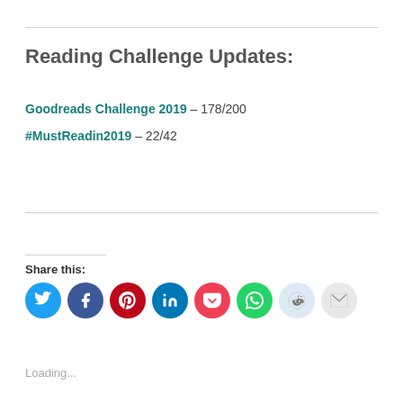Reading Challenge Updates:
Goodreads Challenge 2019 – 178/200
#MustReadin2019 – 22/42
Share this:
[Figure (infographic): Social share buttons: Twitter (blue), Facebook (dark blue), Pinterest (red), LinkedIn (blue), Pocket (pink-red), WhatsApp (green), Reddit (light blue), Email (light gray)]
Loading...